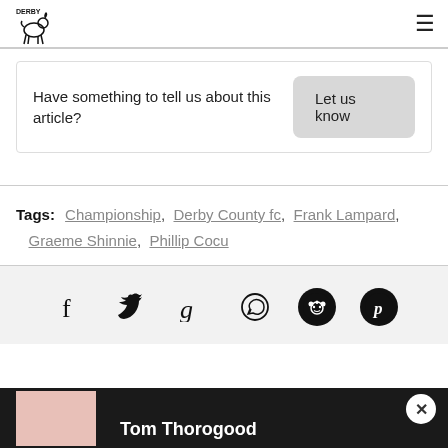Derby [logo]
Have something to tell us about this article?
Let us know
Tags: Championship, Derby County fc, Frank Lampard, Graeme Shinnie, Phillip Cocu
[Figure (other): Social sharing icons: Facebook, Twitter, Google, WhatsApp, Reddit, Pinterest]
[Figure (photo): Bottom strip showing partial article preview with author name Tom Thorogood and a close button]